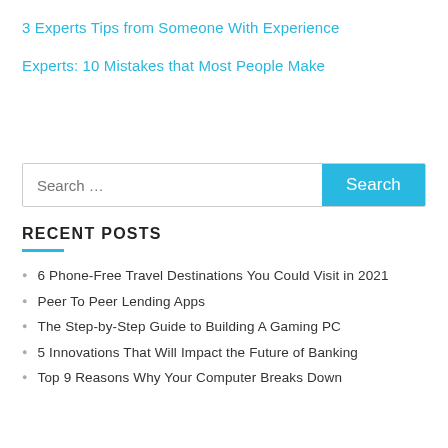3 Experts Tips from Someone With Experience
Experts: 10 Mistakes that Most People Make
[Figure (other): Search bar with text 'Search ...' and a cyan 'Search' button]
RECENT POSTS
6 Phone-Free Travel Destinations You Could Visit in 2021
Peer To Peer Lending Apps
The Step-by-Step Guide to Building A Gaming PC
5 Innovations That Will Impact the Future of Banking
Top 9 Reasons Why Your Computer Breaks Down